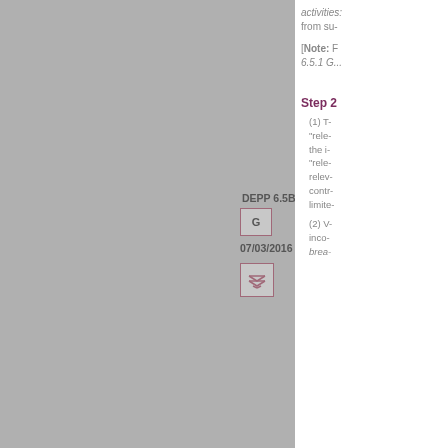activities:
from su-
[Note: F 6.5.1 G...
Step 2
DEPP 6.5B.2
G
07/03/2016
(1) T- "rele- the i- "rele- relev- contr- limite-
(2) V- inco- brea-